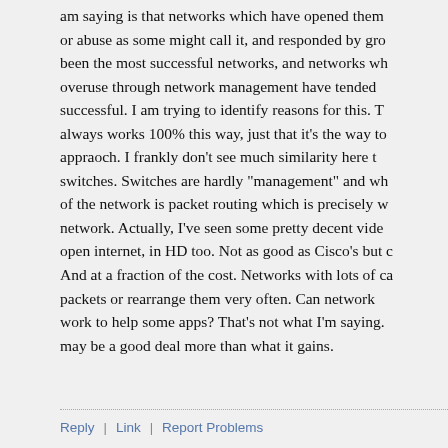am saying is that networks which have opened them or abuse as some might call it, and responded by gro been the most successful networks, and networks wh overuse through network management have tended successful. I am trying to identify reasons for this. T always works 100% this way, just that it's the way to appraoch. I frankly don't see much similarity here to switches. Switches are hardly "management" and wh of the network is packet routing which is precisely w network. Actually, I've seen some pretty decent vide open internet, in HD too. Not as good as Cisco's but c And at a fraction of the cost. Networks with lots of ca packets or rearrange them very often. Can network work to help some apps? That's not what I'm saying. may be a good deal more than what it gains.
Reply | Link | Report Problems